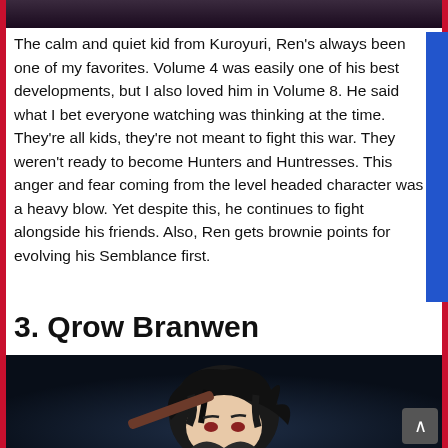[Figure (illustration): Top portion of an anime-style character image, cropped at the top of the page]
The calm and quiet kid from Kuroyuri, Ren's always been one of my favorites. Volume 4 was easily one of his best developments, but I also loved him in Volume 8. He said what I bet everyone watching was thinking at the time. They're all kids, they're not meant to fight this war. They weren't ready to become Hunters and Huntresses. This anger and fear coming from the level headed character was a heavy blow. Yet despite this, he continues to fight alongside his friends. Also, Ren gets brownie points for evolving his Semblance first.
3. Qrow Branwen
[Figure (illustration): Anime-style character illustration of Qrow Branwen, a dark-haired male character holding a weapon, against a dark background]